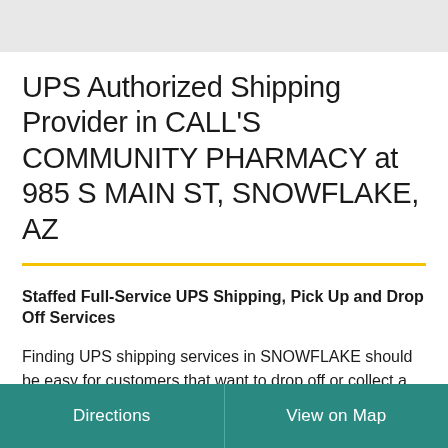[Figure (other): Gray header bar at top of mobile app screen]
UPS Authorized Shipping Provider in CALL'S COMMUNITY PHARMACY at 985 S MAIN ST, SNOWFLAKE, AZ
Staffed Full-Service UPS Shipping, Pick Up and Drop Off Services
Finding UPS shipping services in SNOWFLAKE should be easy for customers that want to drop off or collect a package. Pack-and-go shipping services are available through our UPS Authorized Shipping Provider at CALL'S...
Directions | View on Map